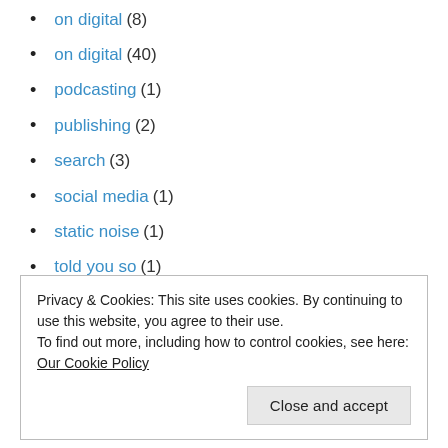on digital (8)
on digital (40)
podcasting (1)
publishing (2)
search (3)
social media (1)
static noise (1)
told you so (1)
tv (23)
UGC (8)
Uncategorized (5)
Privacy & Cookies: This site uses cookies. By continuing to use this website, you agree to their use. To find out more, including how to control cookies, see here: Our Cookie Policy